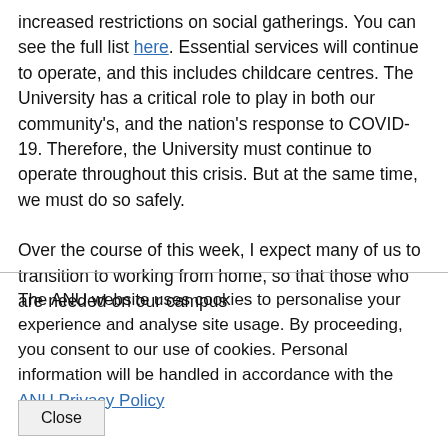increased restrictions on social gatherings. You can see the full list here. Essential services will continue to operate, and this includes childcare centres. The University has a critical role to play in both our community's, and the nation's response to COVID-19. Therefore, the University must continue to operate throughout this crisis. But at the same time, we must do so safely.

Over the course of this week, I expect many of us to transition to working from home, so that those who are needed on our campus
The ANU website uses cookies to personalise your experience and analyse site usage. By proceeding, you consent to our use of cookies. Personal information will be handled in accordance with the ANU Privacy Policy
Close